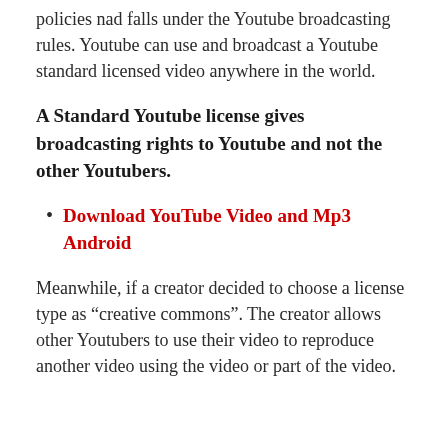policies nad falls under the Youtube broadcasting rules. Youtube can use and broadcast a Youtube standard licensed video anywhere in the world.
A Standard Youtube license gives broadcasting rights to Youtube and not the other Youtubers.
Download YouTube Video and Mp3 Android
Meanwhile, if a creator decided to choose a license type as “creative commons”. The creator allows other Youtubers to use their video to reproduce another video using the video or part of the video.